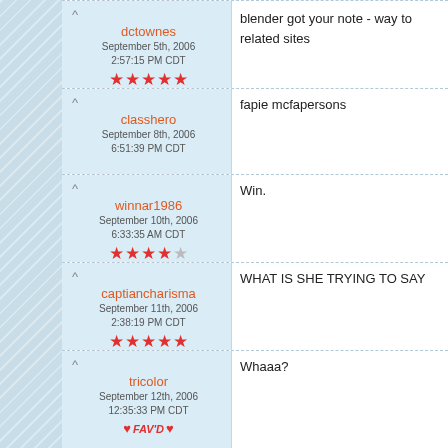dctownes / September 5th, 2006 2:57:15 PM CDT / ★★★★★ | blender got your note - way to related sites
classhero / September 8th, 2006 6:51:39 PM CDT | fapie mcfapersons
winnar1986 / September 10th, 2006 6:33:35 AM CDT / ★★★★☆ | Win.
captiancharisma / September 11th, 2006 2:38:19 PM CDT / ★★★★★ | WHAT IS SHE TRYING TO SAY
tricolor / September 12th, 2006 12:35:33 PM CDT / FAV'D | Whaaa?